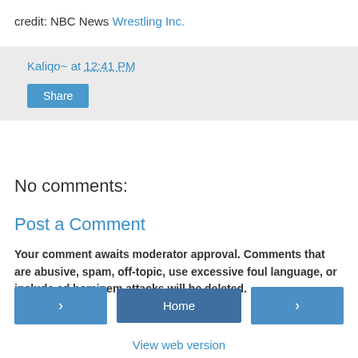credit: NBC News Wrestling Inc.
Kaliqo~ at 12:41 PM
Share
No comments:
Post a Comment
Your comment awaits moderator approval. Comments that are abusive, spam, off-topic, use excessive foul language, or include ad hominem attacks will be deleted.
< Home >
View web version